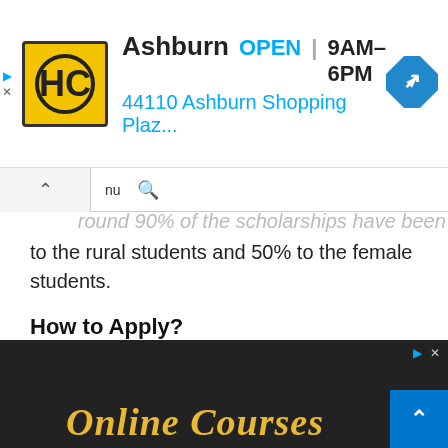[Figure (infographic): Advertisement banner for HC store in Ashburn, showing logo, OPEN status, hours 9AM-6PM, and address 44110 Ashburn Shopping Plaz...]
round 90% of the scholarships have been given to the rural students and 50% to the female students.
How to Apply?
New Applicant who passed HSC in 2015 or onwards & student who availed DBBL SSC Scholarship Circular 2021 after passing SSC before 2015):
[Figure (photo): Dark background image with text 'Online Courses' in stylized yellow/gold font]